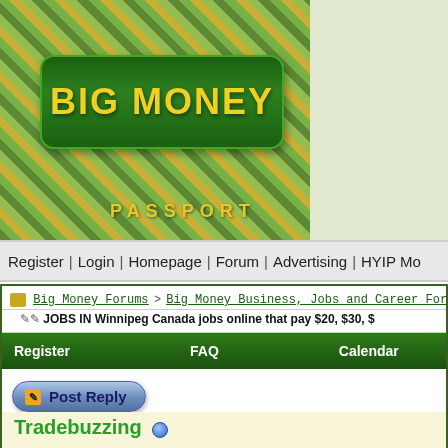[Figure (logo): Big Money Passport website banner with green and gold mosaic background, dark green rounded rectangle logo with 'BIG MONEY' text in yellow/gold, and 'PASSPORT' text below]
Register  |  Login |  Homepage  |  Forum  |  Advertising  |  HYIP Mo
Big Money Forums > Big Money Business, Jobs and Career For
JOBS IN Winnipeg Canada jobs online that pay $20, $30, $
Register   FAQ   Calendar
[Figure (illustration): Blue rounded Post Reply button with pencil icon]
View First Unread
02-24-2016, 07:59 PM
Tradebuzzing
Senior Member
JOBS IN Winnipeg Canada jobs online that pay $20, $30, $40, $50, $60 an hour